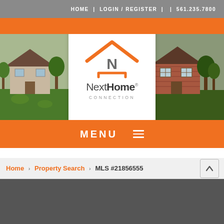HOME | LOGIN / REGISTER | | 561.235.7800
[Figure (screenshot): NextHome Connection real estate website header with logo, house photos, orange menu bar, and breadcrumb navigation showing Home > Property Search > MLS #21856555]
MENU ☰
Home › Property Search › MLS #21856555